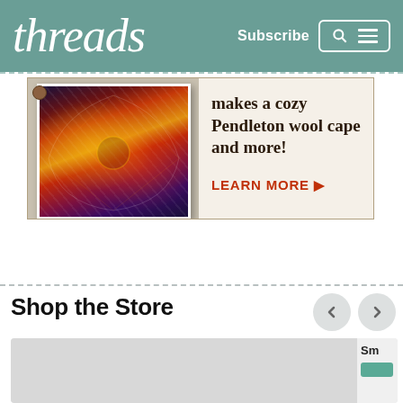threads | Subscribe
[Figure (illustration): Advertisement banner showing a colorful Pendleton wool cape hanging against a light wood background, with text: 'makes a cozy Pendleton wool cape and more!' and a 'LEARN MORE' call-to-action link.]
Shop the Store
[Figure (photo): Partially visible product card area with grey background, and truncated text 'Sm' visible on the right side.]